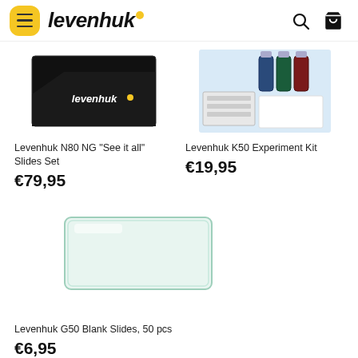levenhuk
[Figure (photo): Levenhuk N80 NG slides set black box packaging]
[Figure (photo): Levenhuk K50 Experiment Kit with bottles and slides]
Levenhuk N80 NG "See it all" Slides Set
Levenhuk K50 Experiment Kit
€79,95
€19,95
[Figure (photo): Levenhuk G50 blank glass microscope slide]
Levenhuk G50 Blank Slides, 50 pcs
€6,95